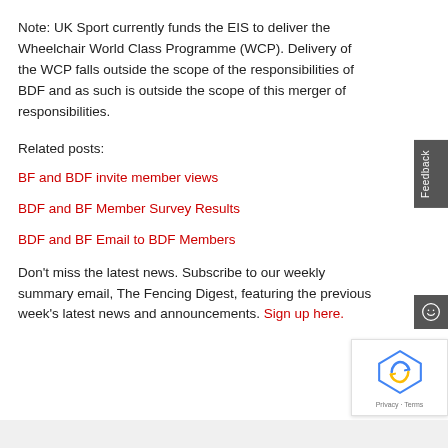Note: UK Sport currently funds the EIS to deliver the Wheelchair World Class Programme (WCP). Delivery of the WCP falls outside the scope of the responsibilities of BDF and as such is outside the scope of this merger of responsibilities.
Related posts:
BF and BDF invite member views
BDF and BF Member Survey Results
BDF and BF Email to BDF Members
Don't miss the latest news. Subscribe to our weekly summary email, The Fencing Digest, featuring the previous week's latest news and announcements. Sign up here.